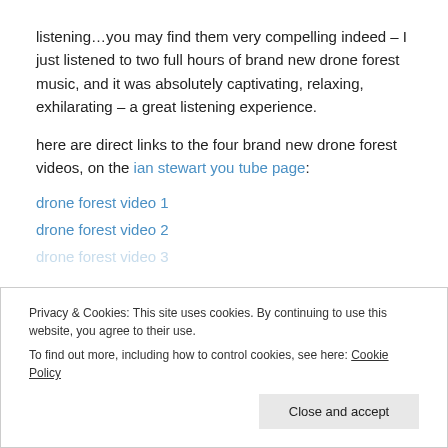listening…you may find them very compelling indeed – I just listened to two full hours of brand new drone forest music, and it was absolutely captivating, relaxing, exhilarating – a great listening experience.
here are direct links to the four brand new drone forest videos, on the ian stewart you tube page:
drone forest video 1
drone forest video 2
drone forest video 3
Privacy & Cookies: This site uses cookies. By continuing to use this website, you agree to their use. To find out more, including how to control cookies, see here: Cookie Policy
Close and accept